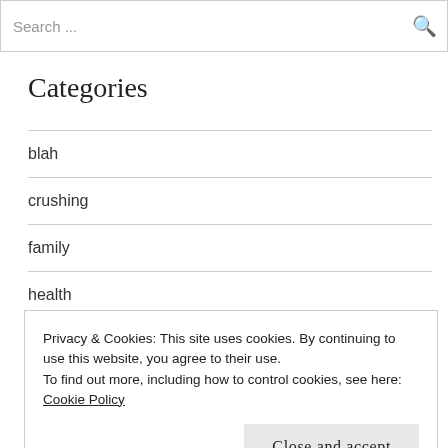Search ...
Categories
blah
crushing
family
health
instant messenger nonsense
lists
Privacy & Cookies: This site uses cookies. By continuing to use this website, you agree to their use.
To find out more, including how to control cookies, see here: Cookie Policy
Close and accept
music